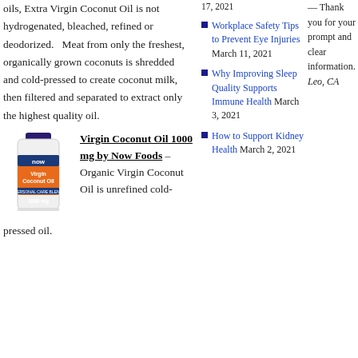oils, Extra Virgin Coconut Oil is not hydrogenated, bleached, refined or deodorized. Meat from only the freshest, organically grown coconuts is shredded and cold-pressed to create coconut milk, then filtered and separated to extract only the highest quality oil.
[Figure (photo): Bottle of Virgin Coconut Oil 1000 mg by Now Foods supplement, orange and blue label]
Virgin Coconut Oil 1000 mg by Now Foods – Organic Virgin Coconut Oil is unrefined cold-pressed oil.
Workplace Safety Tips to Prevent Eye Injuries March 11, 2021
Why Improving Sleep Quality Supports Immune Health March 3, 2021
How to Support Kidney Health March 2, 2021
— Thank you for your prompt and clear information. Leo, CA